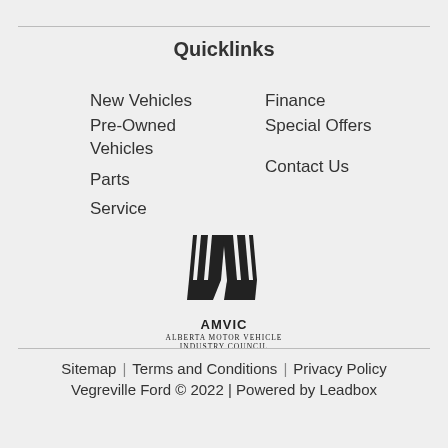Quicklinks
New Vehicles
Finance
Pre-Owned Vehicles
Special Offers
Parts
Contact Us
Service
[Figure (logo): AMVIC - Alberta Motor Vehicle Industry Council logo with stylized road/vehicle icon]
Sitemap | Terms and Conditions | Privacy Policy
Vegreville Ford © 2022 | Powered by Leadbox